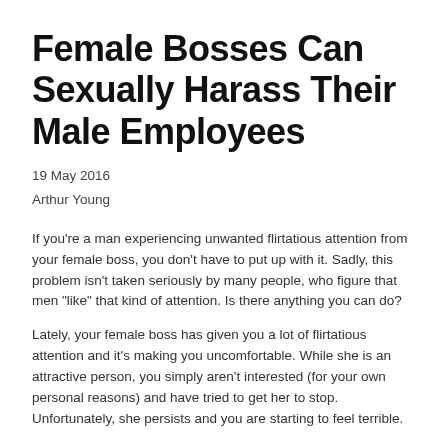Female Bosses Can Sexually Harass Their Male Employees
19 May 2016
Arthur Young
If you're a man experiencing unwanted flirtatious attention from your female boss, you don't have to put up with it. Sadly, this problem isn't taken seriously by many people, who figure that men "like" that kind of attention. Is there anything you can do?
Lately, your female boss has given you a lot of flirtatious attention and it's making you uncomfortable. While she is an attractive person, you simply aren't interested (for your own personal reasons) and have tried to get her to stop. Unfortunately, she persists and you are starting to feel terrible.
The Problem Is Growing
One common misconception about office sexual harassment is that